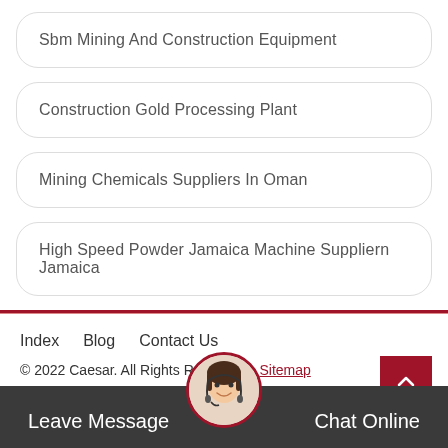Sbm Mining And Construction Equipment
Construction Gold Processing Plant
Mining Chemicals Suppliers In Oman
High Speed Powder Jamaica Machine Suppliern Jamaica
Index   Blog   Contact Us
© 2022 Caesar. All Rights Reserved.   Sitemap
Leave Message   Chat Online